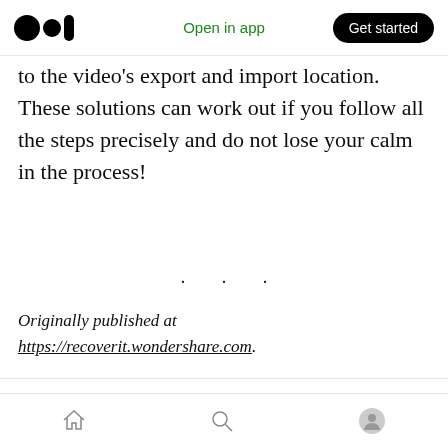Open in app | Get started
to the video's export and import location. These solutions can work out if you follow all the steps precisely and do not lose your calm in the process!
· · ·
Originally published at https://recoverit.wondershare.com.
Action bar and bottom navigation icons